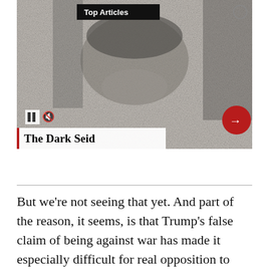[Figure (screenshot): Black and white grainy image of a person's face, with 'Top Articles' badge, pause/mute controls, a red circular next arrow button, and a title overlay 'The Dark Seid']
But we’re not seeing that yet. And part of the reason, it seems, is that Trump’s false claim of being against war has made it especially difficult for real opposition to war to take center stage.